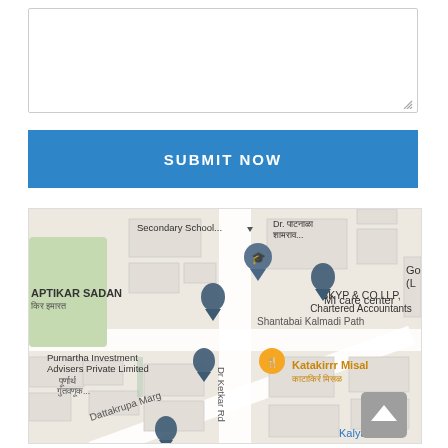[Figure (other): Text input textarea with resize handle at bottom right]
SUBMIT NOW
[Figure (map): Google Maps screenshot showing SKYP & CO LLP Chartered Accountants location, MI care center, Katakirrr Misal restaurant, Purnartha Investment Advisers Private Limited, Shantabai Kalmadi Path, Dr Ketkar Rd, Dattakrupa Marg, Secondary School, APTIKAR SADAN, Kalyan Jew label partial]